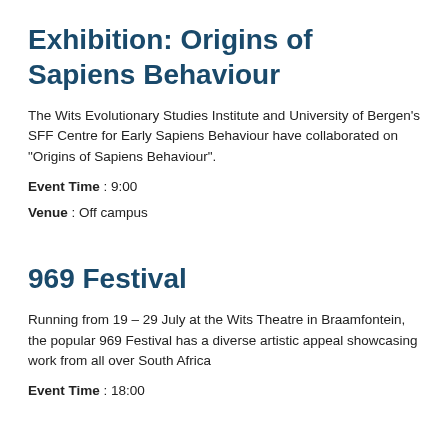Exhibition: Origins of Sapiens Behaviour
The Wits Evolutionary Studies Institute and University of Bergen's SFF Centre for Early Sapiens Behaviour have collaborated on "Origins of Sapiens Behaviour".
Event Time : 9:00
Venue : Off campus
969 Festival
Running from 19 – 29 July at the Wits Theatre in Braamfontein, the popular 969 Festival has a diverse artistic appeal showcasing work from all over South Africa
Event Time : 18:00